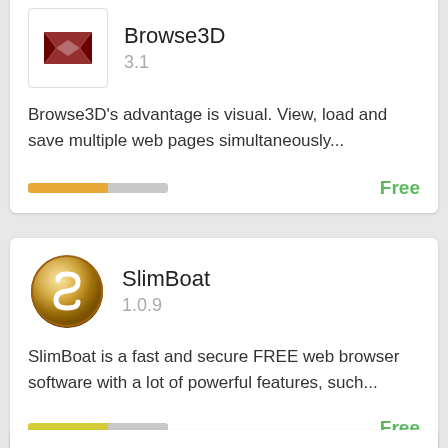[Figure (screenshot): Browse3D app icon - red bowtie shape on white background with thin border]
Browse3D
3.1
Browse3D's advantage is visual. View, load and save multiple web pages simultaneously...
Free
[Figure (screenshot): SlimBoat app icon - golden circular compass/medallion with white S-shaped symbol]
SlimBoat
1.0.9
SlimBoat is a fast and secure FREE web browser software with a lot of powerful features, such...
Free